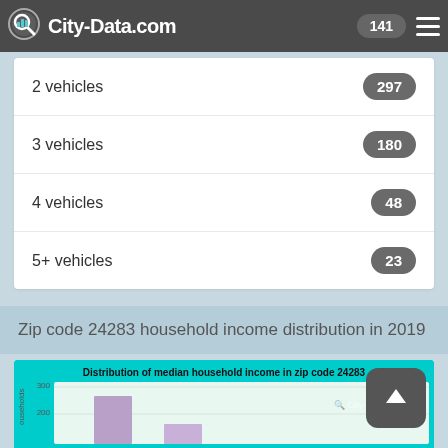City-Data.com  141
| Category | Count |
| --- | --- |
| 2 vehicles | 297 |
| 3 vehicles | 180 |
| 4 vehicles | 48 |
| 5+ vehicles | 23 |
Zip code 24283 household income distribution in 2019
[Figure (bar-chart): Partially visible bar chart showing household income distribution for zip code 24283. Y-axis shows values up to 300 with label at 200 and 300 visible. Two bars partially visible.]